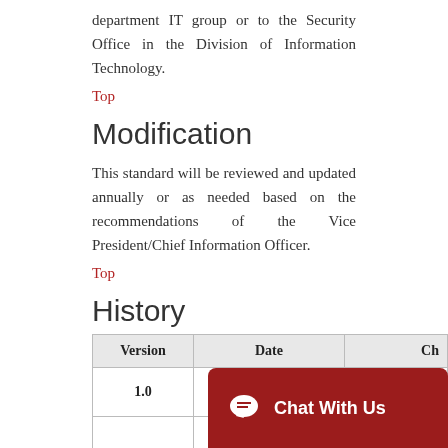department IT group or to the Security Office in the Division of Information Technology.
Top
Modification
This standard will be reviewed and updated annually or as needed based on the recommendations of the Vice President/Chief Information Officer.
Top
History
| Version | Date | Ch |
| --- | --- | --- |
| 1.0 | March 14, 2007 |  |
|  |  | Re |
|  |  | 1.0(A |